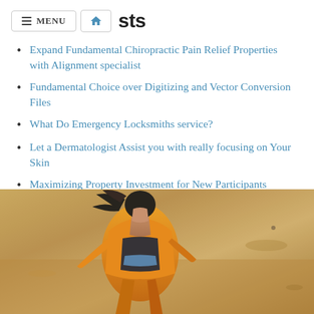≡ MENU 🏠 sts
Expand Fundamental Chiropractic Pain Relief Properties with Alignment specialist
Fundamental Choice over Digitizing and Vector Conversion Files
What Do Emergency Locksmiths service?
Let a Dermatologist Assist you with really focusing on Your Skin
Maximizing Property Investment for New Participants
[Figure (photo): Woman in orange jacket running outdoors on sandy/beach terrain, motion blur, athletic pose]